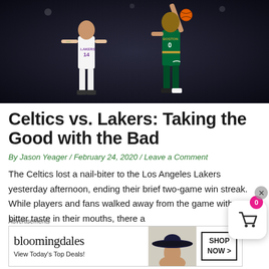[Figure (photo): NBA basketball game photo showing a Lakers player (#14) defending against a Boston Celtics player (#0) who is shooting the ball. Dark arena background.]
Celtics vs. Lakers: Taking the Good with the Bad
By Jason Yeager / February 24, 2020 / Leave a Comment
The Celtics lost a nail-biter to the Los Angeles Lakers yesterday afternoon, ending their brief two-game win streak. While players and fans walked away from the game with a bitter taste in their mouths, there a...oth...
[Figure (screenshot): Bloomingdale's advertisement banner: bloomingdales logo, 'View Today's Top Deals!' text, woman in wide-brim hat, 'SHOP NOW >' button]